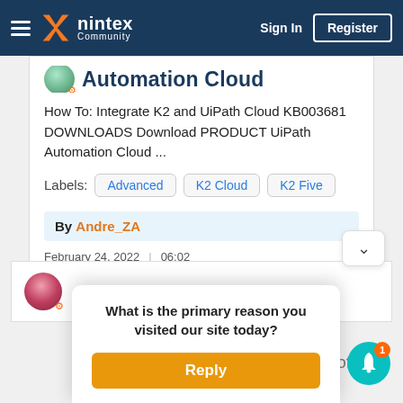Nintex Community — Sign In | Register
Automation Cloud
How To: Integrate K2 and UiPath Cloud KB003681 DOWNLOADS Download PRODUCT UiPath Automation Cloud ...
Labels: Advanced  K2 Cloud  K2 Five
By Andre_ZA
February 24, 2022 | 06:02
319 views  0 likes  0 comments
What is the primary reason you visited our site today?
Reply